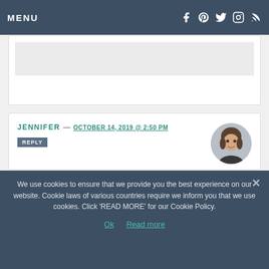MENU
Absolutely delicious! Thank you for this recipe. I will definitely be making this again!
JENNIFER — OCTOBER 14, 2019 @ 2:50 PM
REPLY
[Figure (photo): Circular avatar photo of a smiling woman]
[Figure (other): Five pink star rating icons]
We use cookies to ensure that we provide you the best experience on our website. Cookie laws of various countries require we inform you that we use cookies. Click 'READ MORE' for our Cookie Policy.
Ok    Read more